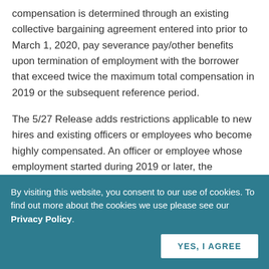compensation is determined through an existing collective bargaining agreement entered into prior to March 1, 2020, pay severance pay/other benefits upon termination of employment with the borrower that exceed twice the maximum total compensation in 2019 or the subsequent reference period.
The 5/27 Release adds restrictions applicable to new hires and existing officers or employees who become highly compensated. An officer or employee whose employment started during 2019 or later, the “subsequent reference period” is the 12-month period starting from the end of the month in which the individual began employment, if his or her total compensation exceeds $425,000 during such period. For an officer or employee who earned more than $3,000,000 during a 12-month period ending after 2019, the “subsequent reference period” is the 12-month period starting from the end of the month in which his or her
By visiting this website, you consent to our use of cookies. To find out more about the cookies we use please see our Privacy Policy.